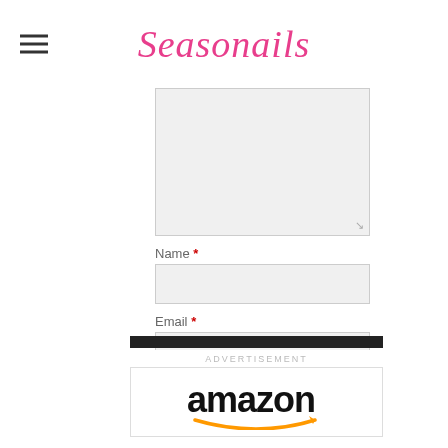Seasonails
[Figure (screenshot): Comment form with textarea, Name, Email, Website fields and Post Comment button]
This site uses Akismet to reduce spam. Learn how your comment data is processed.
[Figure (logo): Amazon logo with arrow smile]